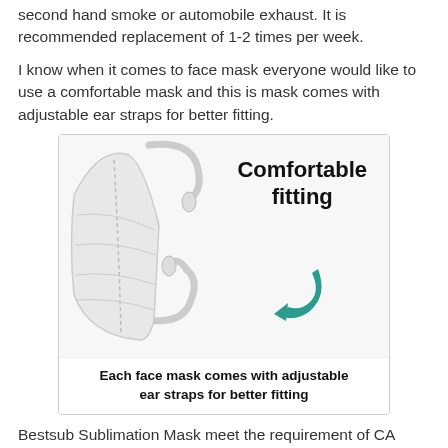second hand smoke or automobile exhaust. It is recommended replacement of 1-2 times per week.
I know when it comes to face mask everyone would like to use a comfortable mask and this is mask comes with adjustable ear straps for better fitting.
[Figure (photo): White KN95-style face mask with adjustable ear straps shown alongside bold text 'Comfortable fitting' and a teal curved arrow icon. Caption below reads: Each face mask comes with adjustable ear straps for better fitting.]
Bestsub Sublimation Mask meet the requirement of CA Prop 65 & EU Reach regulations, tested by SGS & Interlek.